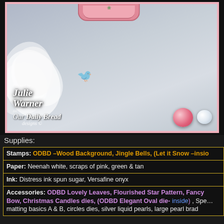[Figure (photo): Close-up photo of a handmade greeting card with a grey/blue wood background texture, white paper flower/ruffled embellishment on the left, a pink decorative oval label at the top, a small bird silhouette, pink gem embellishments at the bottom right, and a watermark text overlay reading 'Created by Julie Warner for Our Daily Bread designs ©'. The photo is framed with a pink border.]
Supplies:
| Stamps: ODBD –Wood Background, Jingle Bells, (Let it Snow –insid… |
| Paper: Neenah white, scraps of pink, green & tan |
| Ink: Distress ink spun sugar, Versafine onyx |
| Accessories: ODBD Lovely Leaves, Flourished Star Pattern, Fancy Bow, Christmas Candles dies, (ODBD Elegant Oval die- inside) , Spe… matting basics A & B, circles dies, silver liquid pearls, large pearl brad |